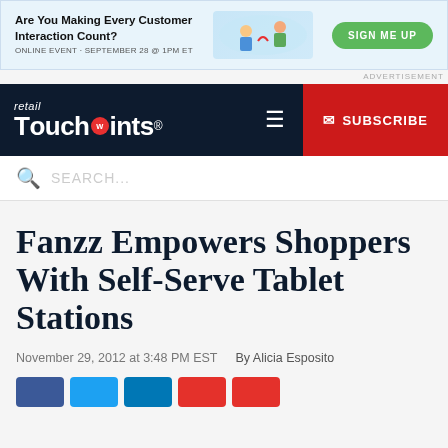[Figure (screenshot): Advertisement banner: 'Are You Making Every Customer Interaction Count? ONLINE EVENT · SEPTEMBER 28 @ 1PM ET' with an illustration and a green 'SIGN ME UP' button]
ADVERTISEMENT
[Figure (logo): Retail TouchPoints logo with navigation bar including hamburger menu and red SUBSCRIBE button]
SEARCH...
Fanzz Empowers Shoppers With Self-Serve Tablet Stations
November 29, 2012 at 3:48 PM EST    By Alicia Esposito